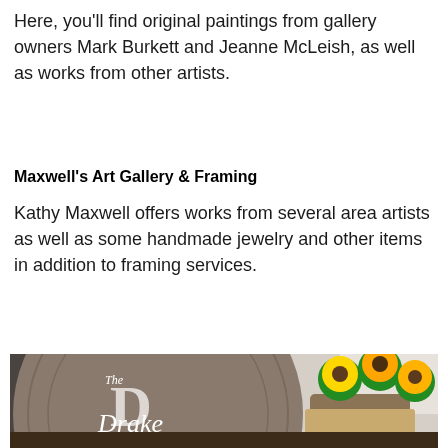Here, you'll find original paintings from gallery owners Mark Burkett and Jeanne McLeish, as well as works from other artists.
Maxwell's Art Gallery & Framing
Kathy Maxwell offers works from several area artists as well as some handmade jewelry and other items in addition to framing services.
[Figure (photo): Photo of a round wooden sign reading 'The Drake Family EST. 2011' with decorative large white letter D, alongside a vase of sunflowers wrapped in burlap.]